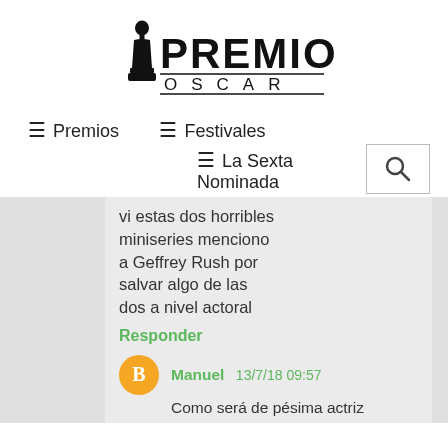[Figure (logo): Premios Oscar logo with Oscar statuette silhouette and bold text 'PREMIOS' above 'OSCAR']
≡ Premios
≡ Festivales
≡ La Sexta Nominada
vi estas dos horribles miniseries menciono a Geffrey Rush por salvar algo de las dos a nivel actoral
Responder
Manuel 13/7/18 09:57
Como será de pésima actriz